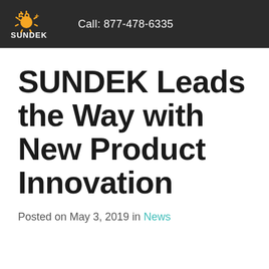Call: 877-478-6335
SUNDEK Leads the Way with New Product Innovation
Posted on May 3, 2019 in News